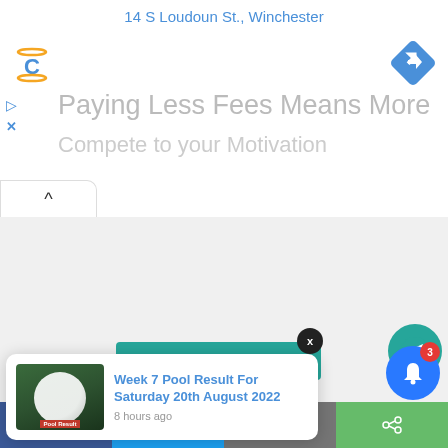14 S Loudoun St., Winchester
[Figure (screenshot): Ad banner showing Captcha-like C logo top-left, blue turn/navigation icon top-right, ad controls play/X on left side, ad headline text 'Paying Less Fees Means More' partially visible, subheadline partially visible, with collapse button (caret up) at bottom-left]
[Figure (screenshot): White/light grey map or content area below the ad banner]
[Figure (screenshot): Teal Telegram channel join banner with channel text partially visible, X close button overlay, Telegram send icon circle button on right]
[Figure (screenshot): Notification popup card showing soccer ball thumbnail image with Pool Result label, blue link text 'Week 7 Pool Result For Saturday 20th August 2022', timestamp '8 hours ago']
[Figure (screenshot): Blue bell notification circle button with red badge showing number 3]
[Figure (screenshot): Bottom social share bar with Facebook (blue), Twitter (light blue), Mail (grey), and share/more (green) buttons]